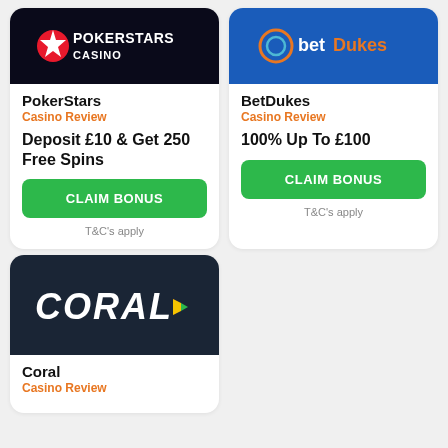[Figure (logo): PokerStars Casino logo on dark navy background]
PokerStars
Casino Review
Deposit £10 & Get 250 Free Spins
CLAIM BONUS
T&C's apply
[Figure (logo): BetDukes logo on blue background]
BetDukes
Casino Review
100% Up To £100
CLAIM BONUS
T&C's apply
[Figure (logo): Coral Casino logo on dark background]
Coral
Casino Review